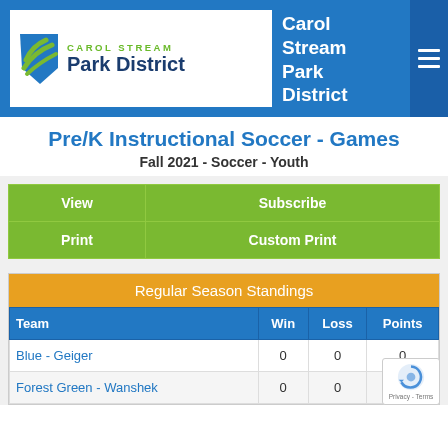[Figure (logo): Carol Stream Park District logo with green leaf/chevron icon, 'CAROL STREAM' in green, 'Park District' in navy blue]
Carol Stream Park District
Pre/K Instructional Soccer - Games
Fall 2021  -  Soccer - Youth
| View | Subscribe |
| --- | --- |
| Print | Custom Print |
| Regular Season Standings |
| --- |
| Team | Win | Loss | Points |
| --- | --- | --- | --- |
| Blue - Geiger | 0 | 0 | 0 |
| Forest Green - Wanshek | 0 | 0 | 0 |